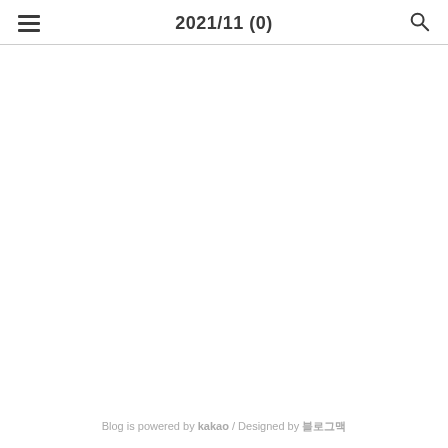2021/11 (0)
Blog is powered by kakao / Designed by 블로그맥